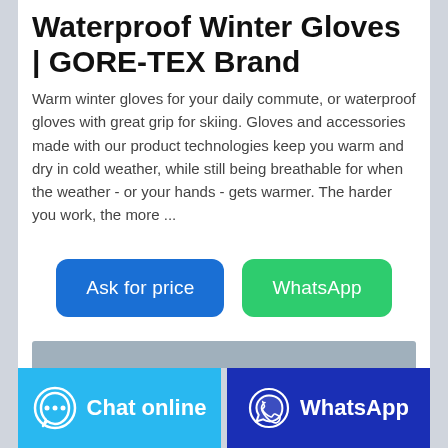Waterproof Winter Gloves | GORE-TEX Brand
Warm winter gloves for your daily commute, or waterproof gloves with great grip for skiing. Gloves and accessories made with our product technologies keep you warm and dry in cold weather, while still being breathable for when the weather - or your hands - gets warmer. The harder you work, the more ...
[Figure (other): Two call-to-action buttons: 'Ask for price' (blue) and 'WhatsApp' (green)]
[Figure (other): Gray placeholder bar for an image or banner]
[Figure (other): Bottom navigation bar with 'Chat online' (light blue) and 'WhatsApp' (dark blue) buttons with icons]